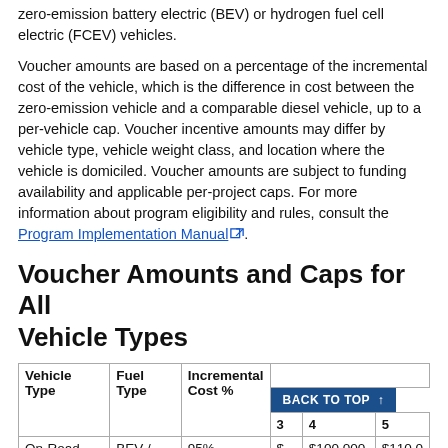zero-emission battery electric (BEV) or hydrogen fuel cell electric (FCEV) vehicles.
Voucher amounts are based on a percentage of the incremental cost of the vehicle, which is the difference in cost between the zero-emission vehicle and a comparable diesel vehicle, up to a per-vehicle cap. Voucher incentive amounts may differ by vehicle type, vehicle weight class, and location where the vehicle is domiciled. Voucher amounts are subject to funding availability and applicable per-project caps. For more information about program eligibility and rules, consult the Program Implementation Manual.
Voucher Amounts and Caps for All Vehicle Types
| Vehicle Type | Fuel Type | Incremental Cost % | Voucher Amount: Veh | 3 | 4 | 5 |
| --- | --- | --- | --- | --- | --- | --- |
| On-Road | BEV / | 95% | $ | $100,000 | $110,0 |